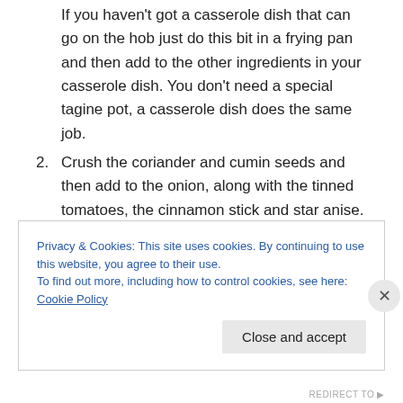If you haven't got a casserole dish that can go on the hob just do this bit in a frying pan and then add to the other ingredients in your casserole dish. You don't need a special tagine pot, a casserole dish does the same job.
2. Crush the coriander and cumin seeds and then add to the onion, along with the tinned tomatoes, the cinnamon stick and star anise.
3. Remove the papery skins from the garlic and place whole in with the onion and tomato.
4. Wash the preserved lemon. Slice into quarters and
Privacy & Cookies: This site uses cookies. By continuing to use this website, you agree to their use.
To find out more, including how to control cookies, see here: Cookie Policy